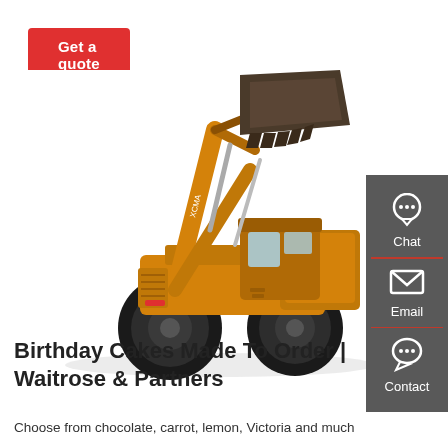Get a quote
[Figure (photo): XCMA yellow wheel loader / front-end loader construction machine with raised bucket, photographed on white background]
Chat
Email
Contact
Birthday Cakes Made To Order | Waitrose & Partners
Choose from chocolate, carrot, lemon, Victoria and much